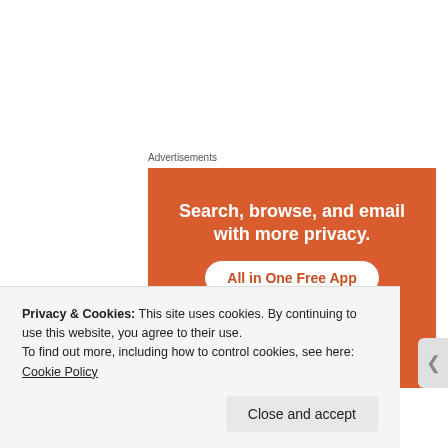Advertisements
[Figure (infographic): Orange advertisement banner reading 'Search, browse, and email with more privacy. All in One Free App' with a phone image at the bottom.]
Brown Road Chronicles
Privacy & Cookies: This site uses cookies. By continuing to use this website, you agree to their use.
To find out more, including how to control cookies, see here: Cookie Policy
Close and accept